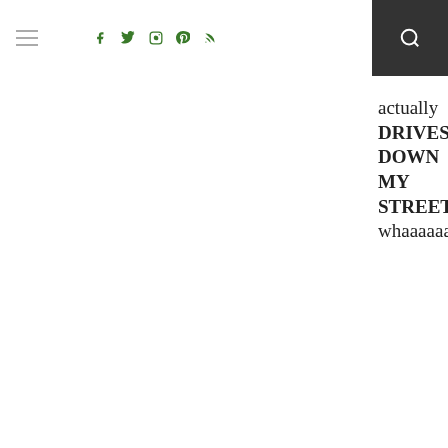Navigation bar with hamburger menu, social icons (Facebook, Twitter, Instagram, Pinterest, RSS), and search button
actually DRIVES DOWN MY STREET! whaaaaaat.
SHANNON
November 7, 2012 at 6:49 am
do they wave at you? I bet they want to. maybe if you dress up